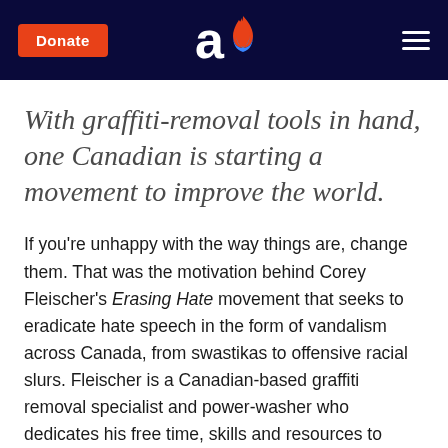Donate | [Aish logo] | [menu]
With graffiti-removal tools in hand, one Canadian is starting a movement to improve the world.
If you're unhappy with the way things are, change them. That was the motivation behind Corey Fleischer's Erasing Hate movement that seeks to eradicate hate speech in the form of vandalism across Canada, from swastikas to offensive racial slurs. Fleischer is a Canadian-based graffiti removal specialist and power-washer who dedicates his free time, skills and resources to create awareness about hate crime and anti-Semitism, and he's inspiring a